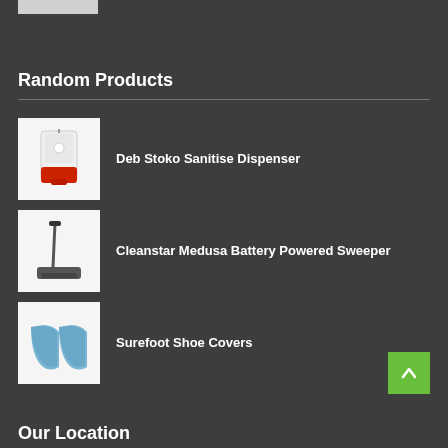[Figure (other): Partial image stub at top of page]
Random Products
Deb Stoko Sanitise Dispenser
Cleanstar Medusa Battery Powered Sweeper
Surefoot Shoe Covers
Our Location